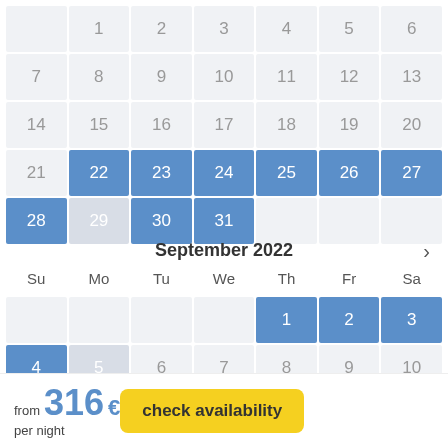|  | 1 | 2 | 3 | 4 | 5 | 6 |
| --- | --- | --- | --- | --- | --- | --- |
| 7 | 8 | 9 | 10 | 11 | 12 | 13 |
| 14 | 15 | 16 | 17 | 18 | 19 | 20 |
| 21 | 22 | 23 | 24 | 25 | 26 | 27 |
| 28 | 29 | 30 | 31 |  |  |  |
September 2022
| Su | Mo | Tu | We | Th | Fr | Sa |
| --- | --- | --- | --- | --- | --- | --- |
|  |  |  |  | 1 | 2 | 3 |
| 4 | 5 | 6 | 7 | 8 | 9 | 10 |
| 11 | 12 | 13 | 14 | 15 | 16 | 17 |
from 316 € per night
check availability